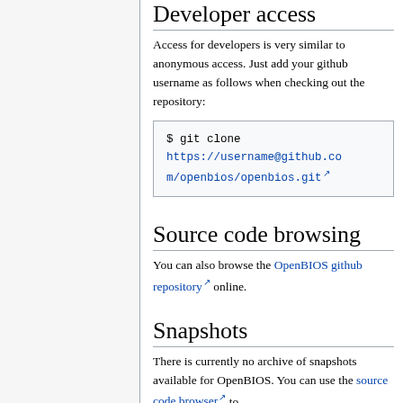Developer access
Access for developers is very similar to anonymous access. Just add your github username as follows when checking out the repository:
Source code browsing
You can also browse the OpenBIOS github repository online.
Snapshots
There is currently no archive of snapshots available for OpenBIOS. You can use the source code browser to